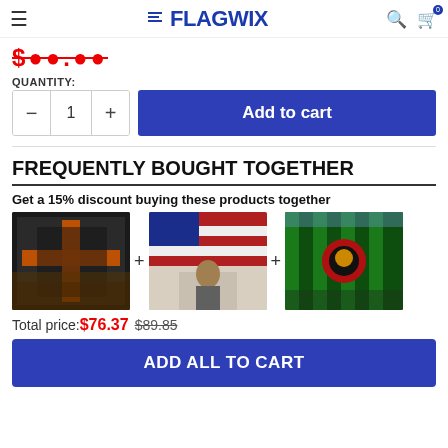FLAGWIX
$●●●.●●
QUANTITY:
Add to cart
FREQUENTLY BOUGHT TOGETHER
Get a 15% discount buying these products together
[Figure (photo): Three flag product images shown in a row with plus signs between them]
Total price:$76.37  $89.85
ADD ALL TO CART